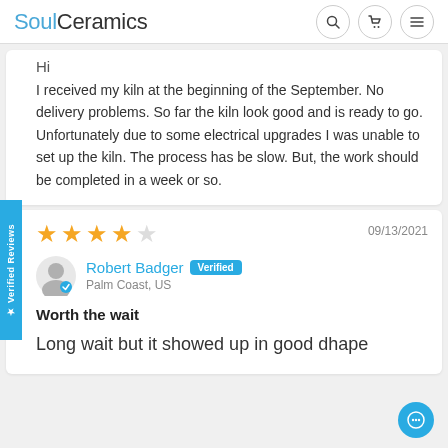SoulCeramics
Hi
I received my kiln at the beginning of the September. No delivery problems. So far the kiln look good and is ready to go. Unfortunately due to some electrical upgrades I was unable to set up the kiln. The process has be slow. But, the work should be completed in a week or so.
09/13/2021
Robert Badger Verified
Palm Coast, US
Worth the wait
Long wait but it showed up in good dhape